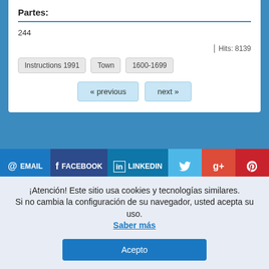Partes:
244
| Hits: 8139
Instructions 1991
Town
1600-1699
« previous
next »
@ EMAIL | FACEBOOK | in LINKEDIN | Twitter | g+ | Pinterest
Copyright © 2006-2022 worldbricks.com
¡Atención! Este sitio usa cookies y tecnologías similares.
Si no cambia la configuración de su navegador, usted acepta su uso.
Saber más
Acepto